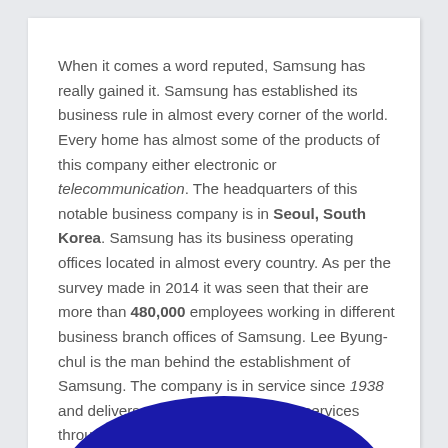When it comes a word reputed, Samsung has really gained it. Samsung has established its business rule in almost every corner of the world. Every home has almost some of the products of this company either electronic or telecommunication. The headquarters of this notable business company is in Seoul, South Korea. Samsung has its business operating offices located in almost every country. As per the survey made in 2014 it was seen that their are more than 480,000 employees working in different business branch offices of Samsung. Lee Byung-chul is the man behind the establishment of Samsung. The company is in service since 1938 and delivers a customer satisfaction services through its different branches.
[Figure (illustration): Partial blue elliptical shape visible at the bottom of the page]